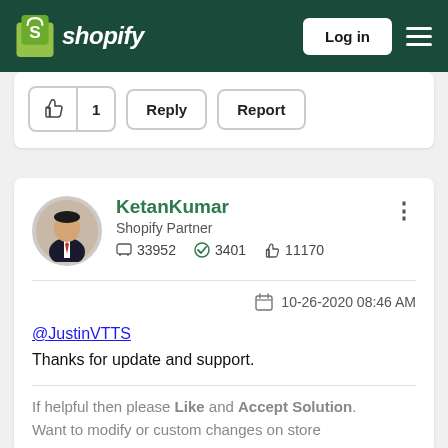shopify — Log in
[Figure (screenshot): Partial post action buttons: thumbs up with count 1, Reply button, Report button]
KetanKumar
Shopify Partner
33952  3401  11170
10-26-2020 08:46 AM
@JustinVTTS
Thanks for update and support.
If helpful then please Like and Accept Solution.
Want to modify or custom changes on store